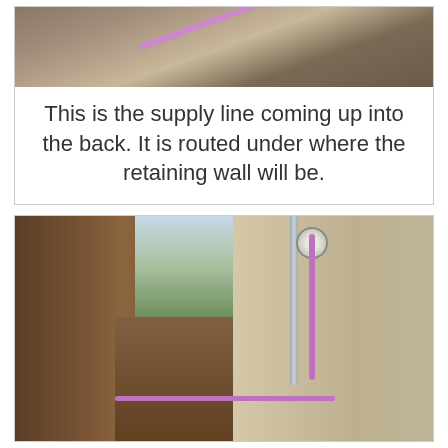[Figure (photo): Top photo showing a purple supply line pipe laid diagonally in dirt/excavated ground, viewed from above.]
This is the supply line coming up into the back. It is routed under where the retaining wall will be.
[Figure (photo): Bottom photo showing a narrow side passage between a wooden fence on the left and a stucco wall on the right. A purple pipe runs vertically along the wall, and another purple pipe runs horizontally in a trench in the ground. A metal conduit and light fixture are visible on the wall.]